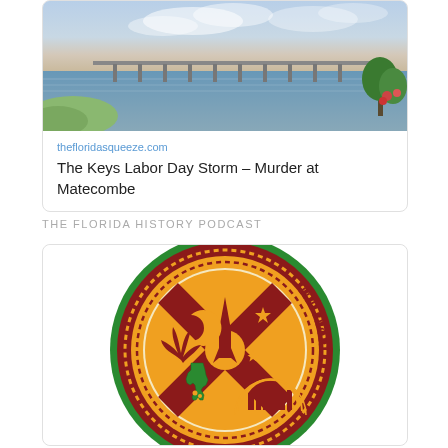[Figure (photo): Postcard-style photo of a long bridge over water, with sunset sky and trees/flowers at right edge]
thefloridasqueeze.com
The Keys Labor Day Storm – Murder at Matecombe
THE FLORIDA HISTORY PODCAST
[Figure (logo): The Florida History Podcast circular logo: green outer ring, dark red band with gold dotted border and podcast name text, central wheel design with rocket, crescent moon, stars, Florida map outline, palm/maple leaf, and city skyline on gold/orange background]